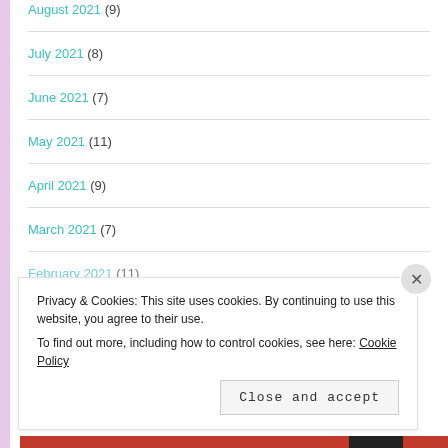August 2021 (9)
July 2021 (8)
June 2021 (7)
May 2021 (11)
April 2021 (9)
March 2021 (7)
February 2021 (11)
Privacy & Cookies: This site uses cookies. By continuing to use this website, you agree to their use.
To find out more, including how to control cookies, see here: Cookie Policy
Close and accept